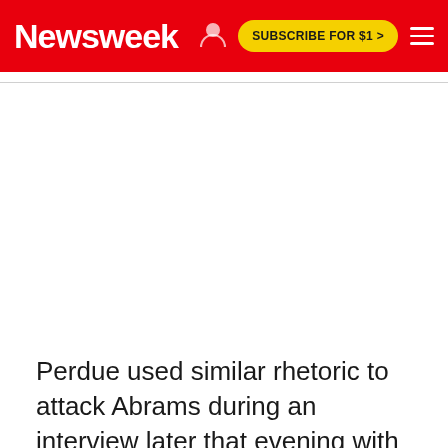Newsweek | SUBSCRIBE FOR $1 >
Perdue used similar rhetoric to attack Abrams during an interview later that evening with